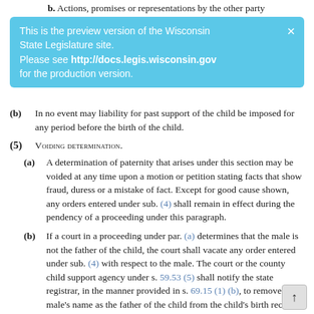b. Actions, promises or representations by the other party
This is the preview version of the Wisconsin State Legislature site. Please see http://docs.legis.wisconsin.gov for the production version.
(b) In no event may liability for past support of the child be imposed for any period before the birth of the child.
(5) VOIDING DETERMINATION.
(a) A determination of paternity that arises under this section may be voided at any time upon a motion or petition stating facts that show fraud, duress or a mistake of fact. Except for good cause shown, any orders entered under sub. (4) shall remain in effect during the pendency of a proceeding under this paragraph.
(b) If a court in a proceeding under par. (a) determines that the male is not the father of the child, the court shall vacate any order entered under sub. (4) with respect to the male. The court or the county child support agency under s. 59.53 (5) shall notify the state registrar, in the manner provided in s. 69.15 (1) (b), to remove the male's name as the father of the child from the child's birth record. No paternity action may thereafter be brought against the male with respect to the child.